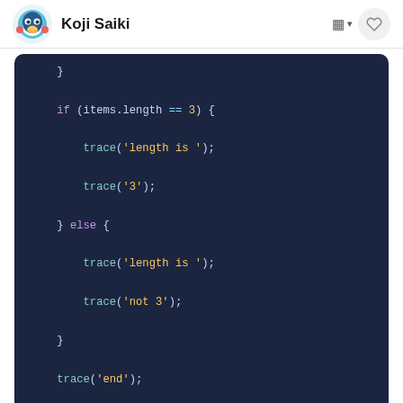Koji Saiki
[Figure (screenshot): Code editor screenshot showing ActionScript/JavaScript code with if-else block and trace statements on dark navy background]
□□□□□□□□□□□□□□□□